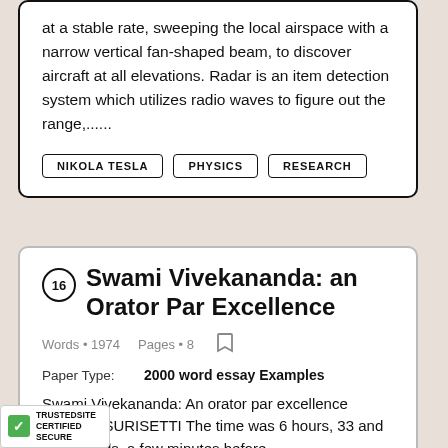at a stable rate, sweeping the local airspace with a narrow vertical fan-shaped beam, to discover aircraft at all elevations. Radar is an item detection system which utilizes radio waves to figure out the range,......
NIKOLA TESLA
PHYSICS
RESEARCH
16 Swami Vivekananda: an Orator Par Excellence
Words • 1974   Pages • 8
Paper Type:   2000 word essay Examples
Swami Vivekananda: An orator par excellence JAYESH SURISETTI The time was 6 hours, 33 and 33 seconds, a few minutes before